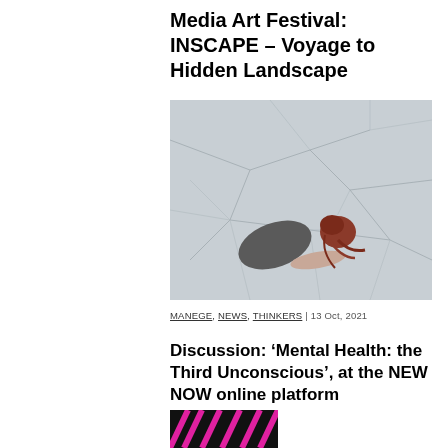Media Art Festival: INSCAPE – Voyage to Hidden Landscape
[Figure (photo): Aerial view of a person with red hair lying on a cracked dry earth surface, wearing a grey textured top, with their arm outstretched.]
MANEGE, NEWS, THINKERS | 13 Oct, 2021
Discussion: ‘Mental Health: the Third Unconscious’, at the NEW NOW online platform
[Figure (logo): Partial logo at bottom of page with pink/magenta diagonal stripes on black background.]